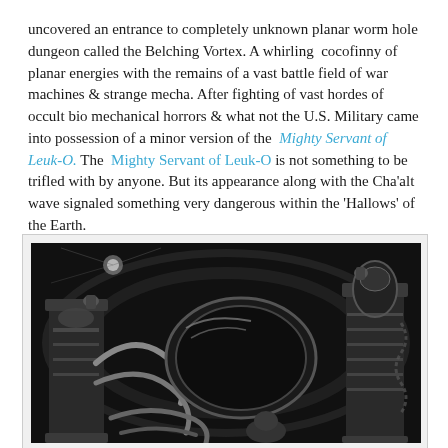uncovered an entrance to completely unknown planar worm hole dungeon called the Belching Vortex. A whirling  cocofinny of planar energies with the remains of a vast battle field of war machines & strange mecha. After fighting of vast hordes of occult bio mechanical horrors & what not the U.S. Military came into possession of a minor version of the  Mighty Servant of Leuk-O. The  Mighty Servant of Leuk-O is not something to be trifled with by anyone. But its appearance along with the Cha'alt wave signaled something very dangerous within the 'Hallows' of the Earth.
[Figure (illustration): A dark black-and-white illustration depicting a massive mechanical/biomechanical construct or mecha, resembling a war machine with ornate columns, curved metal armatures, tentacle-like appendages, and sculpted figures. The style is detailed and gothic/sci-fi in nature.]